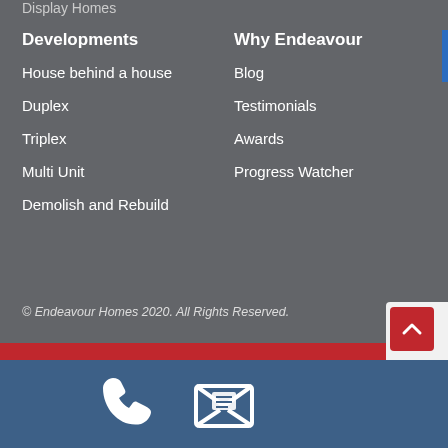Display Homes
Developments
House behind a house
Duplex
Triplex
Multi Unit
Demolish and Rebuild
Why Endeavour
Blog
Testimonials
Awards
Progress Watcher
© Endeavour Homes 2020. All Rights Reserved.
Web Design  |